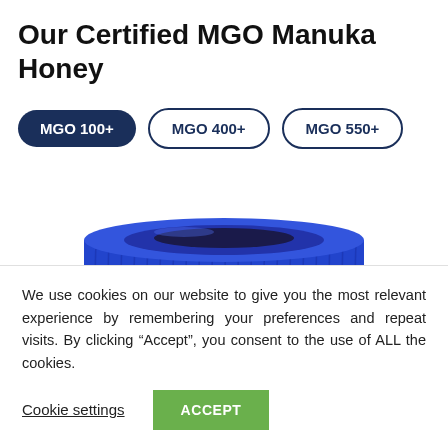Our Certified MGO Manuka Honey
MGO 100+ | MGO 400+ | MGO 550+
[Figure (photo): Close-up top view of a blue screw-top lid of a Manuka honey jar, showing ribbed edges and a dark center seal.]
We use cookies on our website to give you the most relevant experience by remembering your preferences and repeat visits. By clicking “Accept”, you consent to the use of ALL the cookies.
Cookie settings  ACCEPT